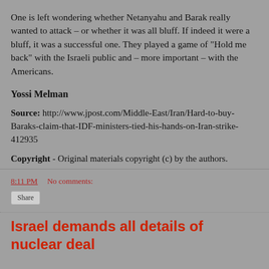One is left wondering whether Netanyahu and Barak really wanted to attack – or whether it was all bluff. If indeed it were a bluff, it was a successful one. They played a game of “Hold me back” with the Israeli public and – more important – with the Americans.
Yossi Melman
Source: http://www.jpost.com/Middle-East/Iran/Hard-to-buy-Baraks-claim-that-IDF-ministers-tied-his-hands-on-Iran-strike-412935
Copyright - Original materials copyright (c) by the authors.
8:11 PM   No comments:
Share
Israel demands all details of nuclear deal